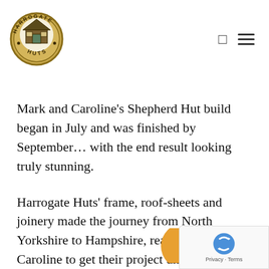[Figure (logo): Harrogate Huts circular logo with building icon, olive/gold color scheme]
Mark and Caroline’s Shepherd Hut build began in July and was finished by September… with the end result looking truly stunning.
Harrogate Huts’ frame, roof-sheets and joinery made the journey from North Yorkshire to Hampshire, ready for Mark and Caroline to get their project under way… and they